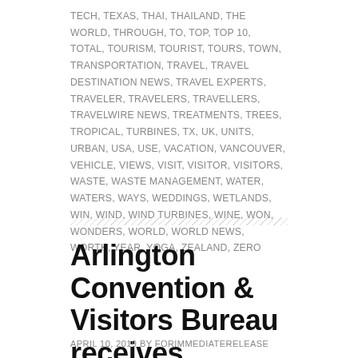TECH, TEXAS, THAI, THAILAND, THE WORLD, THROUGH, TO, TOP, TOP 10, TOTAL, TOURISM, TOURIST, TOURS, TOWN, TRANSPORTATION, TRAVEL, TRAVEL DESTINATION NEWS, TRAVEL EXPERTS, TRAVELER, TRAVELERS, TRAVELLERS, TRAVELWIRE NEWS, TREATMENTS, TREES, TROPICAL, TURBINES, TX, UK, UNITS, URBAN, USA, USE, VACATION, VANCOUVER, VEHICLE, VIEWS, VISIT, VISITOR, VISITORS, WASTE, WASTE MANAGEMENT, WATER, WATERS, WAYS, WEDDINGS, WETLANDS, WIN, WIND, WIND TURBINES, WINE, WON, WONDERS, WORLD, WORLD NEWS, WORTH, YEAR, YOGA, ZEALAND, ZERO
Arlington Convention & Visitors Bureau receives US Travel honor
APRIL 10, 2019 BY FORIMMEDIATERELEASE